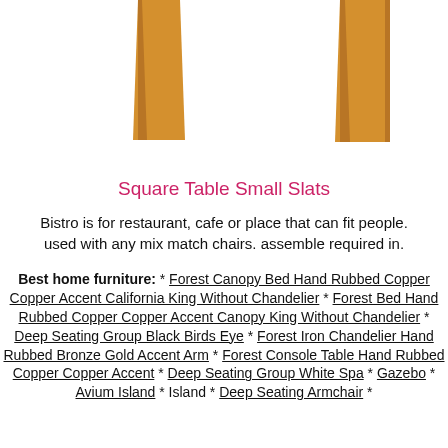[Figure (photo): Bottom portions of two wooden table or chair legs visible against white background, showing honey/amber colored wood grain]
Square Table Small Slats
Bistro is for restaurant, cafe or place that can fit people. used with any mix match chairs. assemble required in.
Best home furniture: * Forest Canopy Bed Hand Rubbed Copper Copper Accent California King Without Chandelier * Forest Bed Hand Rubbed Copper Copper Accent Canopy King Without Chandelier * Deep Seating Group Black Birds Eye * Forest Iron Chandelier Hand Rubbed Bronze Gold Accent Arm * Forest Console Table Hand Rubbed Copper Copper Accent * Deep Seating Group White Spa * Gazebo * Avium Island * Island * Deep Seating Armchair *